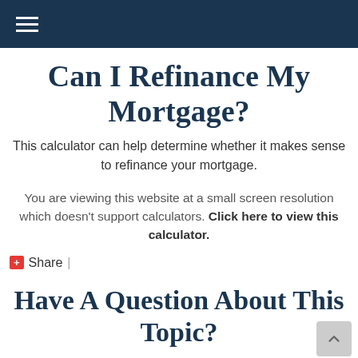Can I Refinance My Mortgage?
This calculator can help determine whether it makes sense to refinance your mortgage.
You are viewing this website at a small screen resolution which doesn't support calculators. Click here to view this calculator.
Share  |
Have A Question About This Topic?